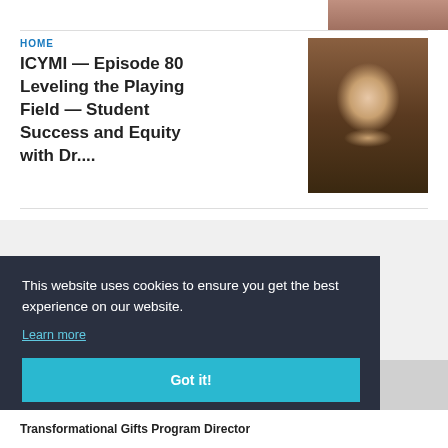[Figure (photo): Partial photo of a person visible at top right corner]
HOME
ICYMI — Episode 80 Leveling the Playing Field — Student Success and Equity with Dr....
[Figure (photo): Portrait photo of an Asian woman in a dark blazer against a brown/gold background]
This website uses cookies to ensure you get the best experience on our website.
Learn more
Got it!
Transformational Gifts Program Director